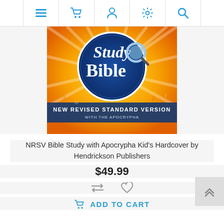Navigation bar with menu, cart, user, settings, and search icons
[Figure (photo): Book cover of NRSV Study Bible with Apocrypha Kid's Hardcover. Shows 'Study Bible' text on a blue circle with magnifying glass, rays of light in orange/yellow, and 'NEW REVISED STANDARD VERSION WITH THE APOCRYPHA' banner.]
NRSV Bible Study with Apocrypha Kid's Hardcover by Hendrickson Publishers
$49.99
ADD TO CART